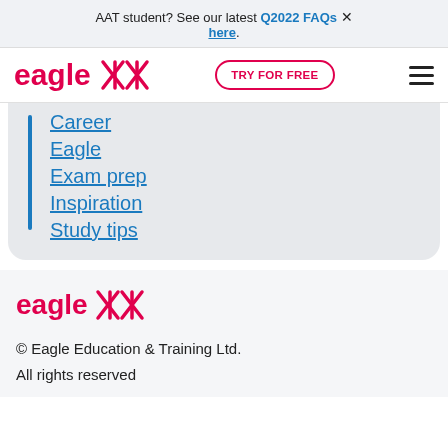AAT student? See our latest Q2022 FAQs × here.
[Figure (logo): Eagle Education logo with pink cross symbol and 'TRY FOR FREE' button and hamburger menu]
Career
Eagle
Exam prep
Inspiration
Study tips
[Figure (logo): Eagle Education logo in footer - pink text with cross symbol]
© Eagle Education & Training Ltd.
All rights reserved